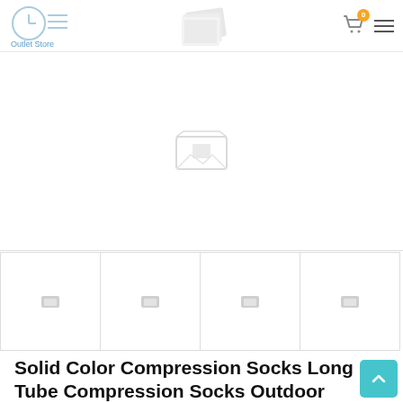Outlet Store
[Figure (screenshot): Main product image placeholder (broken image icon)]
[Figure (screenshot): Thumbnail 1 placeholder]
[Figure (screenshot): Thumbnail 2 placeholder]
[Figure (screenshot): Thumbnail 3 placeholder]
[Figure (screenshot): Thumbnail 4 placeholder]
Solid Color Compression Socks Long Tube Compression Socks Outdoor Sports Compres